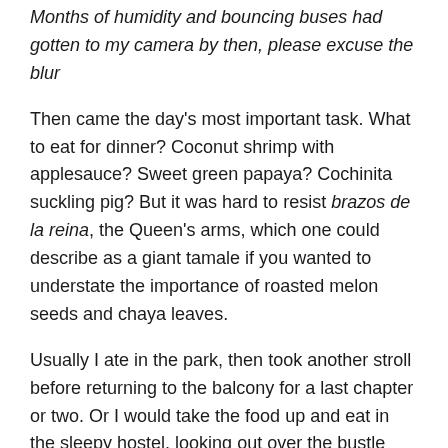Months of humidity and bouncing buses had gotten to my camera by then, please excuse the blur
Then came the day’s most important task. What to eat for dinner? Coconut shrimp with applesauce? Sweet green papaya? Cochinita suckling pig? But it was hard to resist brazos de la reina, the Queen’s arms, which one could describe as a giant tamale if you wanted to understate the importance of roasted melon seeds and chaya leaves.
Usually I ate in the park, then took another stroll before returning to the balcony for a last chapter or two. Or I would take the food up and eat in the sleepy hostel, looking out over the bustle below. This was travel at its best, the “temporary local” experience, and I hadn’t packed my worries.
Back in the normal world, the worries caught up with me. A